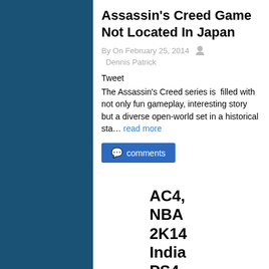Assassin’s Creed Game Not Located In Japan
By On February 25, 2014  Dennis Patrick
Tweet
The Assassin’s Creed series is  filled with not only fun gameplay, interesting story but a diverse open-world set in a historical sta… read more
comments
AC4, NBA 2K14 India PS4 Pricing